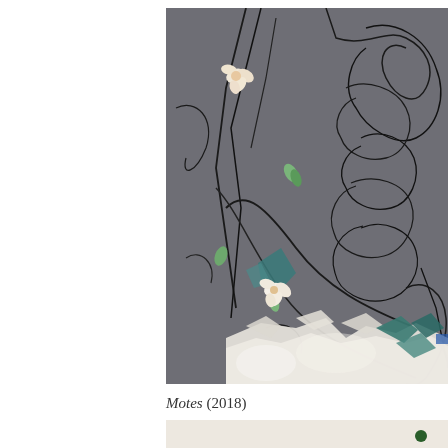[Figure (photo): Installation artwork photo showing dark grey wall with chaotic black thread/wire lines drawn across it, with small white paper flowers, green leaves, torn white paper and teal/blue paper fragments scattered throughout. The composition has an energetic, scattered quality with the materials pinned or attached to the wall surface.]
Motes (2018)
dust, thread, straight pins
size variable, approx 1/2” x 1”
[Figure (photo): Partial view of another artwork or detail shot showing white surface with a small dark green circular element visible at the right side.]